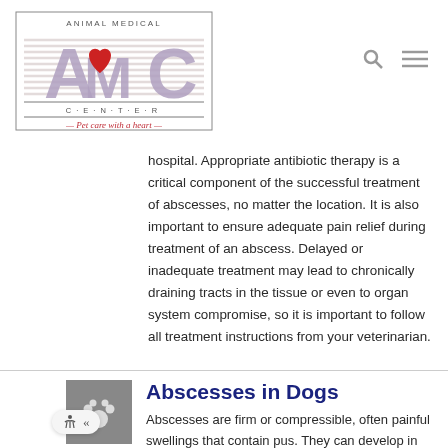[Figure (logo): Animal Medical Center logo with AMC letters, red heart, and tagline 'Pet care with a heart']
hospital. Appropriate antibiotic therapy is a critical component of the successful treatment of abscesses, no matter the location. It is also important to ensure adequate pain relief during treatment of an abscess. Delayed or inadequate treatment may lead to chronically draining tracts in the tissue or even to organ system compromise, so it is important to follow all treatment instructions from your veterinarian.
Abscesses in Dogs
Abscesses are firm or compressible, often painful swellings that contain pus. They can develop in many areas of the body